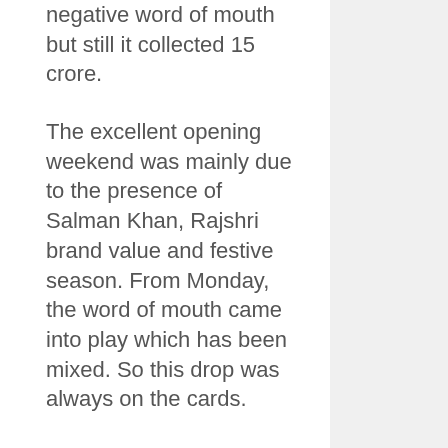negative word of mouth but still it collected 15 crore.
The excellent opening weekend was mainly due to the presence of Salman Khan, Rajshri brand value and festive season. From Monday, the word of mouth came into play which has been mixed. So this drop was always on the cards.
Still family audience and single screens are a hope for the film. But a lot of